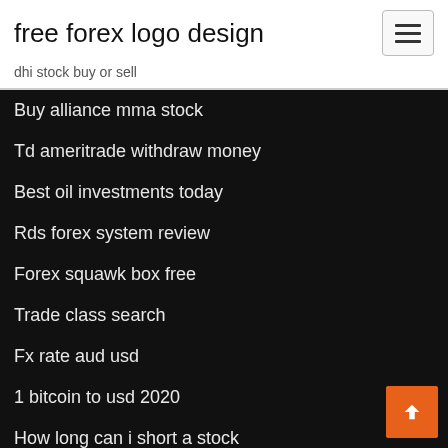free forex logo design
dhi stock buy or sell
Buy alliance mma stock
Td ameritrade withdraw money
Best oil investments today
Rds forex system review
Forex squawk box free
Trade class search
Fx rate aud usd
1 bitcoin to usd 2020
How long can i short a stock
European stock index etf